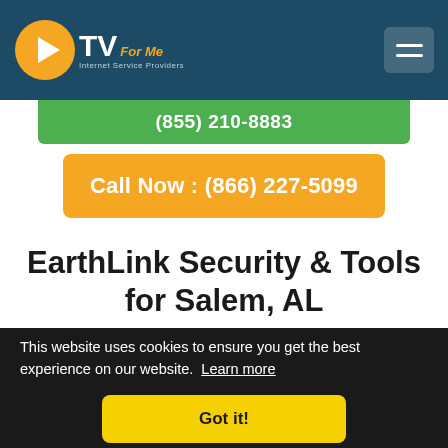[Figure (logo): CTVForMe Internet Service Providers logo with orange circle play button icon and white TV text]
(855) 210-8883
Call Now : (866) 227-5099
EarthLink Security & Tools for Salem, AL
...your ...ruses ...t and ...hlink ...ata is
This website uses cookies to ensure you get the best experience on our website. Learn more
Got it!